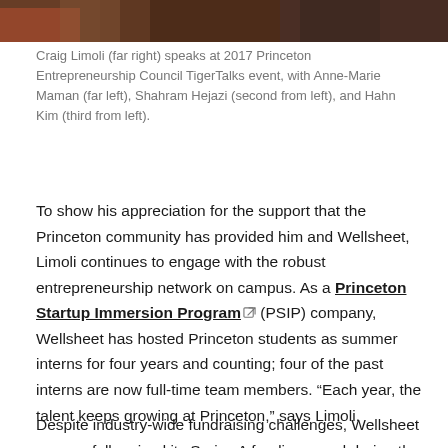[Figure (photo): Photo of Craig Limoli and others speaking at 2017 Princeton Entrepreneurship Council TigerTalks event, cropped to show partial view]
Craig Limoli (far right) speaks at 2017 Princeton Entrepreneurship Council TigerTalks event, with Anne-Marie Maman (far left), Shahram Hejazi (second from left), and Hahn Kim (third from left).
To show his appreciation for the support that the Princeton community has provided him and Wellsheet, Limoli continues to engage with the robust entrepreneurship network on campus. As a Princeton Startup Immersion Program (PSIP) company, Wellsheet has hosted Princeton students as summer interns for four years and counting; four of the past interns are now full-time team members. “Each year, the talent keeps growing at Princeton,” says Limoli.
Despite industry-wide fundraising challenges, Wellsheet successfully raised its Series A funding round during the